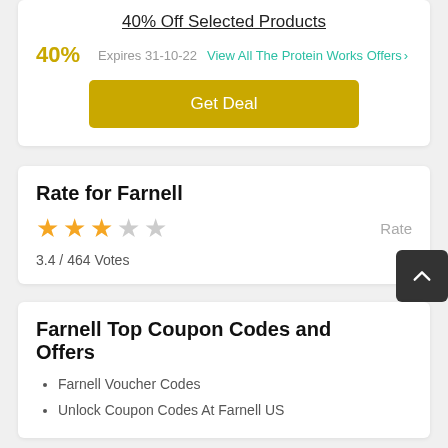40% Off Selected Products
40%   Expires 31-10-22   View All The Protein Works Offers >
Get Deal
Rate for Farnell
3.4 / 464 Votes
Farnell Top Coupon Codes and Offers
Farnell Voucher Codes
Unlock Coupon Codes At Farnell US